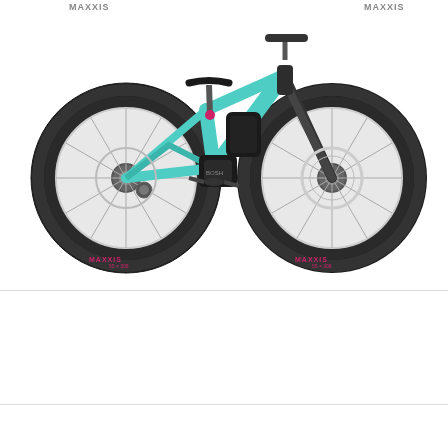[Figure (photo): A teal/mint colored electric mountain bike with black tires (Maxxis brand), disc brakes, Shimano drivetrain components, and pink/magenta accent details. The bike is shown in profile view against a white background.]
Size: *
S/M
$4,450.00